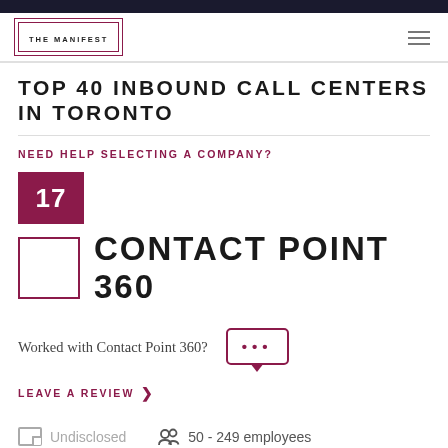THE MANIFEST
TOP 40 INBOUND CALL CENTERS IN TORONTO
NEED HELP SELECTING A COMPANY?
17
CONTACT POINT 360
Worked with Contact Point 360?
LEAVE A REVIEW >
Undisclosed   50 - 249 employees